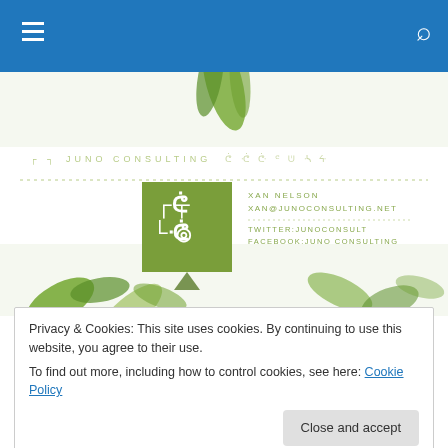Navigation bar with hamburger menu and search icon
[Figure (logo): Juno Consulting logo banner with green logo square, contact info (XAN NELSON, XAN@JUNOCONSULTING.NET, TWITTER:JUNOCONSULT, FACEBOOK:JUNO CONSULTING), decorative characters, and green plant imagery]
A step by step guide to proposal preparation
Privacy & Cookies: This site uses cookies. By continuing to use this website, you agree to their use.
To find out more, including how to control cookies, see here: Cookie Policy
2. Review the guidelines